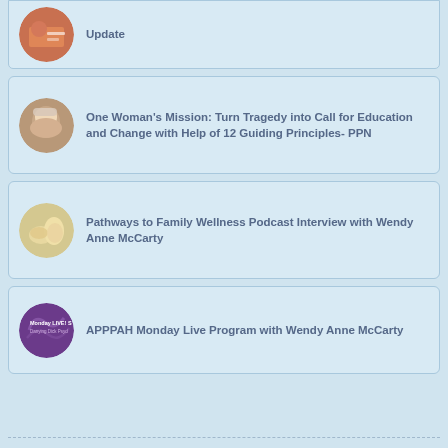Update
One Woman's Mission: Turn Tragedy into Call for Education and Change with Help of 12 Guiding Principles- PPN
Pathways to Family Wellness Podcast Interview with Wendy Anne McCarty
APPPAH Monday Live Program with Wendy Anne McCarty